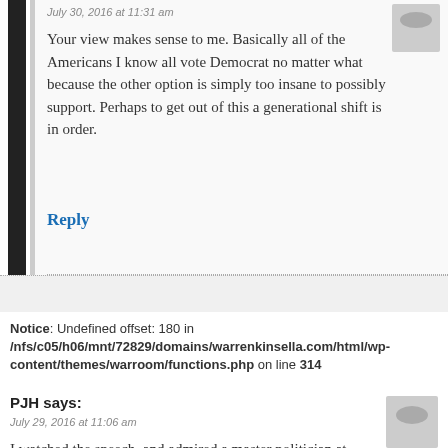July 30, 2016 at 11:31 am
Your view makes sense to me. Basically all of the Americans I know all vote Democrat no matter what because the other option is simply too insane to possibly support. Perhaps to get out of this a generational shift is in order.
Reply
Notice: Undefined offset: 180 in /nfs/c05/h06/mnt/72829/domains/warrenkinsella.com/html/wp-content/themes/warroom/functions.php on line 314
PJH says:
July 29, 2016 at 11:06 am
I watched the speech, and admired a master politician at work.........I do have to admit that I admire these delegates defiance even more.......https://www.youtube.com/watch?v=DQrH-cVwPuA